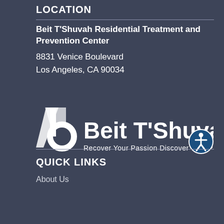LOCATION
Beit T'Shuvah Residential Treatment and Prevention Center
8831 Venice Boulevard
Los Angeles, CA 90034
[Figure (logo): Beit T'Shuvah logo with icon and tagline: Recover Your Passion  Discover Your Purpose, with accessibility icon]
QUICK LINKS
About Us